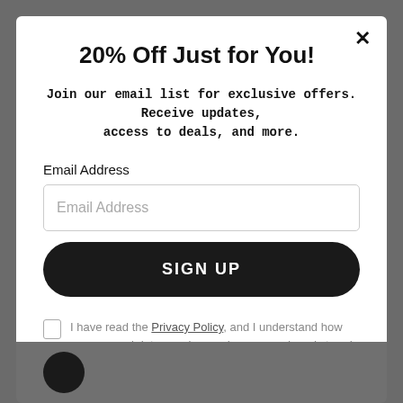20% Off Just for You!
Join our email list for exclusive offers. Receive updates, access to deals, and more.
Email Address
Email Address (placeholder)
SIGN UP
I have read the Privacy Policy, and I understand how my personal data may be used, processed, and stored.